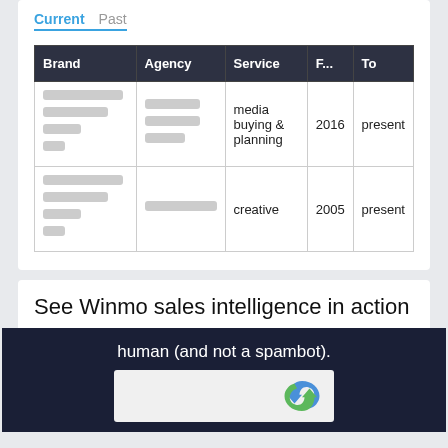Current | Past
| Brand | Agency | Service | F... | To |
| --- | --- | --- | --- | --- |
| [blurred] | [blurred] | media buying & planning | 2016 | present |
| [blurred] | [blurred] | creative | 2005 | present |
See Winmo sales intelligence in action
human (and not a spambot).